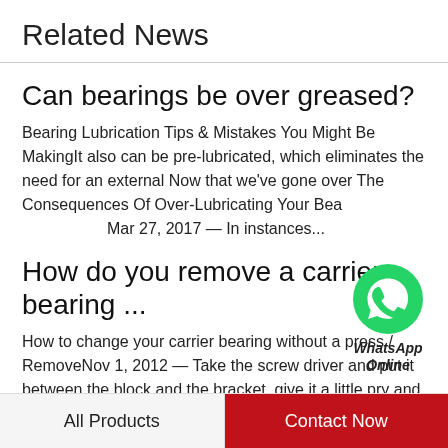Related News
Can bearings be over greased?
Bearing Lubrication Tips & Mistakes You Might Be MakingIt also can be pre-lubricated, which eliminates the need for an external Now that we've gone over The Consequences Of Over-Lubricating Your Bearings Mar 27, 2017 — In instances...
[Figure (logo): WhatsApp green logo icon with label 'WhatsApp Online']
How do you remove a carrier bearing ...
How to change your carrier bearing without a press / RemoveNov 1, 2012 — Take the screw driver and put it between the block and the bracket, give it a little pry and it will flip up and around. 8. Grab the axle by the
All Products    Contact Now